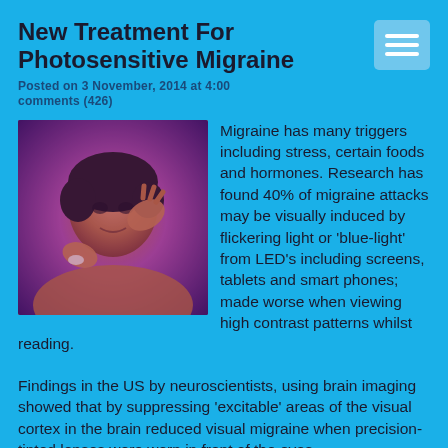New Treatment For Photosensitive Migraine
Posted on 3 November, 2014 at 4:00
comments (426)
[Figure (photo): Person holding their head in pain, appearing to have a migraine, photographed under purple/blue lighting]
Migraine has many triggers including stress, certain foods and hormones. Research has found 40% of migraine attacks may be visually induced by flickering light or 'blue-light' from LED's including screens, tablets and smart phones; made worse when viewing high contrast patterns whilst reading.
Findings in the US by neuroscientists, using brain imaging showed that by suppressing 'excitable' areas of the visual cortex in the brain reduced visual migraine when precision-tinted lenses were worn in front of the eyes.